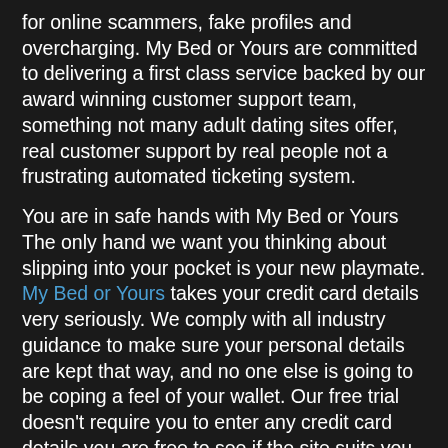for online scammers, fake profiles and overcharging. My Bed or Yours are committed to delivering a first class service backed by our award winning customer support team, something not many adult dating sites offer, real customer support by real people not a frustrating automated ticketing system.
You are in safe hands with My Bed or Yours The only hand we want you thinking about slipping into your pocket is your new playmate. My Bed or Yours takes your credit card details very seriously. We comply with all industry guidance to make sure your personal details are kept that way, and no one else is going to be coping a feel of your wallet. Our free trial doesn't require you to enter any credit card details you are free to see if the site suits you and sign up if you feel comfortable.